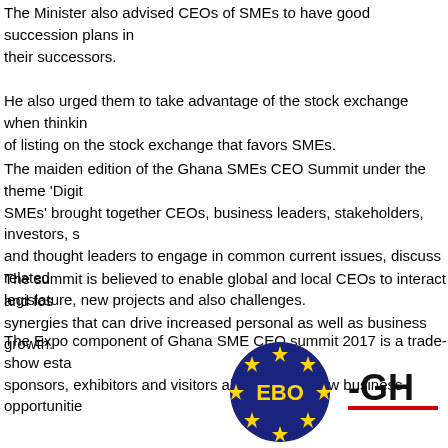The Minister also advised CEOs of SMEs to have good succession plans in place and to train their successors.
He also urged them to take advantage of the stock exchange when thinking of listing on the stock exchange that favors SMEs.
The maiden edition of the Ghana SMEs CEO Summit under the theme 'Digit SMEs' brought together CEOs, business leaders, stakeholders, investors, and thought leaders to engage in common current issues, discuss related legislature, new projects and also challenges.
The summit is believed to enable global and local CEOs to interact and foster synergies that can drive increased personal as well as business growth.
The Expo component of Ghana SME CEO summit 2017 is a trade-show established for sponsors, exhibitors and visitors alike to forge new business opportunities.
[Figure (logo): EBO-GH logo: circular blue badge with yellow stars around the border and 'EBO' text in yellow in the center, followed by '-GH' text in black bold with a red underline]